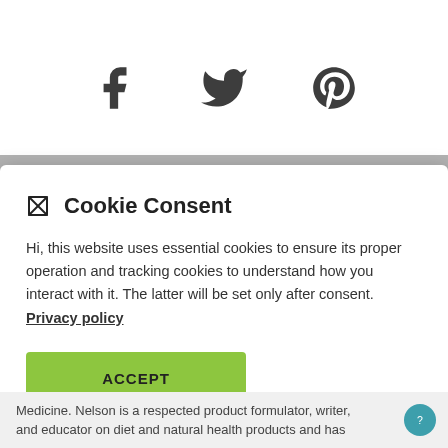[Figure (illustration): Social media icons: Facebook (f), Twitter (bird), Pinterest (P)]
🍪 Cookie Consent
Hi, this website uses essential cookies to ensure its proper operation and tracking cookies to understand how you interact with it. The latter will be set only after consent. Privacy policy
ACCEPT
Medicine. Nelson is a respected product formulator, writer, and educator on diet and natural health products and has